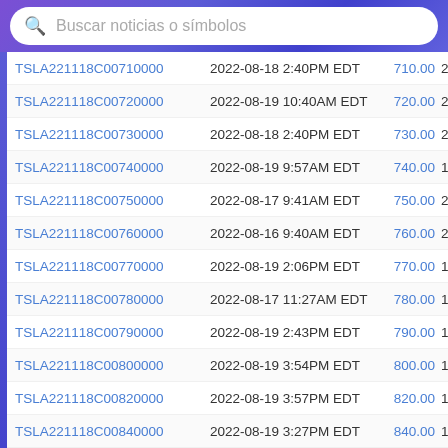Buscar noticias o símbolos
| Symbol | Last Trade Date/Time | Strike |  |
| --- | --- | --- | --- |
| TSLA221118C00710000 | 2022-08-18 2:40PM EDT | 710.00 | 2… |
| TSLA221118C00720000 | 2022-08-19 10:40AM EDT | 720.00 | 2… |
| TSLA221118C00730000 | 2022-08-18 2:40PM EDT | 730.00 | 2… |
| TSLA221118C00740000 | 2022-08-19 9:57AM EDT | 740.00 | 1… |
| TSLA221118C00750000 | 2022-08-17 9:41AM EDT | 750.00 | 2… |
| TSLA221118C00760000 | 2022-08-16 9:40AM EDT | 760.00 | 2… |
| TSLA221118C00770000 | 2022-08-19 2:06PM EDT | 770.00 | 1… |
| TSLA221118C00780000 | 2022-08-17 11:27AM EDT | 780.00 | 1… |
| TSLA221118C00790000 | 2022-08-19 2:43PM EDT | 790.00 | 1… |
| TSLA221118C00800000 | 2022-08-19 3:54PM EDT | 800.00 | 1… |
| TSLA221118C00820000 | 2022-08-19 3:57PM EDT | 820.00 | 1… |
| TSLA221118C00840000 | 2022-08-19 3:27PM EDT | 840.00 | 1… |